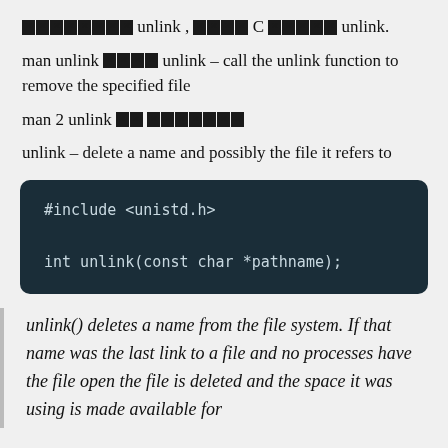[redacted] unlink , [redacted] C [redacted] unlink.
man unlink [redacted] unlink – call the unlink function to remove the specified file
man 2 unlink [redacted] [redacted]
unlink – delete a name and possibly the file it refers to
#include <unistd.h>

int unlink(const char *pathname);
unlink() deletes a name from the file system. If that name was the last link to a file and no processes have the file open the file is deleted and the space it was using is made available for